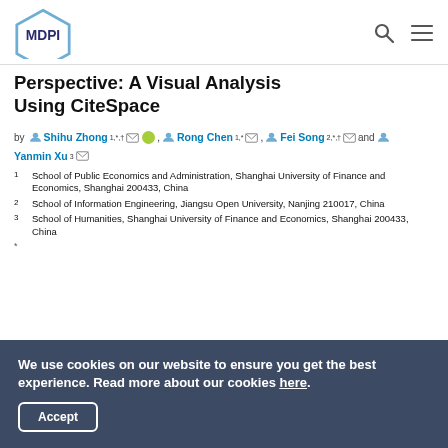MDPI
Perspective: A Visual Analysis Using CiteSpace
by Shihu Zhong 1,*,† Rong Chen 1,* Fei Song 2,*,† and Yanmin Xu 3
1 School of Public Economics and Administration, Shanghai University of Finance and Economics, Shanghai 200433, China
2 School of Information Engineering, Jiangsu Open University, Nanjing 210017, China
3 School of Humanities, Shanghai University of Finance and Economics, Shanghai 200433, China
We use cookies on our website to ensure you get the best experience. Read more about our cookies here.